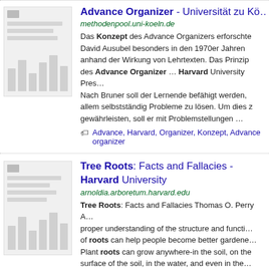[Figure (screenshot): Thumbnail image of a document page with gray bars representing text and a bar chart]
Advance Organizer - Universität zu Kö…
methodenpool.uni-koeln.de
Das Konzept des Advance Organizers erforschte David Ausubel besonders in den 1970er Jahren anhand der Wirkung von Lehrtexten. Das Prinzip des Advance Organizer ... Harvard University Pres… Nach Bruner soll der Lernende befähigt werden, v allem selbstständig Probleme zu lösen. Um dies z gewährleisten, soll er mit Problemstellungen ...
Advance, Harvard, Organizer, Konzept, Advance organizer
[Figure (screenshot): Thumbnail image of a document page with gray bars representing text and a bar chart]
Tree Roots: Facts and Fallacies - Harvard University
arnoldia.arboretum.harvard.edu
Tree Roots: Facts and Fallacies Thomas O. Perry A… proper understanding of the structure and functi… of roots can help people become better gardene… Plant roots can grow anywhere-in the soil, on the surface of the soil, in the water, and even in the…